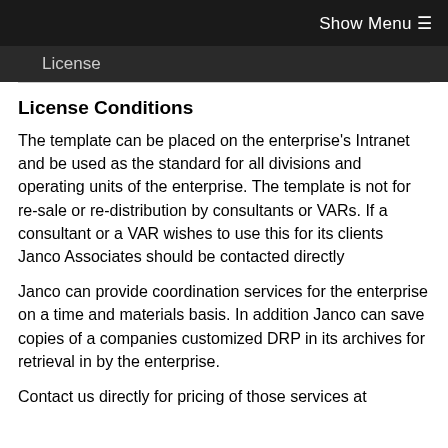Show Menu ☰
License
License Conditions
The template can be placed on the enterprise's Intranet and be used as the standard for all divisions and operating units of the enterprise. The template is not for re-sale or re-distribution by consultants or VARs. If a consultant or a VAR wishes to use this for its clients Janco Associates should be contacted directly
Janco can provide coordination services for the enterprise on a time and materials basis. In addition Janco can save copies of a companies customized DRP in its archives for retrieval in by the enterprise.
Contact us directly for pricing of those services at